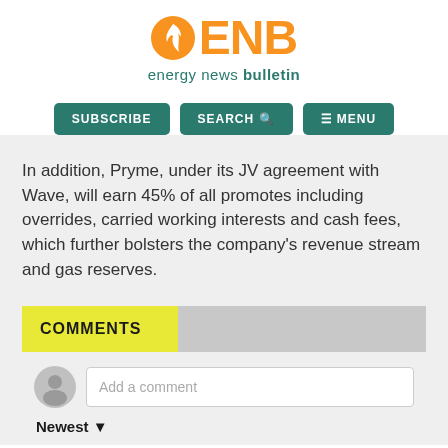[Figure (logo): Energy News Bulletin (ENB) logo with orange flame icon and teal text]
SUBSCRIBE   SEARCH   MENU
In addition, Pryme, under its JV agreement with Wave, will earn 45% of all promotes including overrides, carried working interests and cash fees, which further bolsters the company’s revenue stream and gas reserves.
COMMENTS
Add a comment
Newest ▾